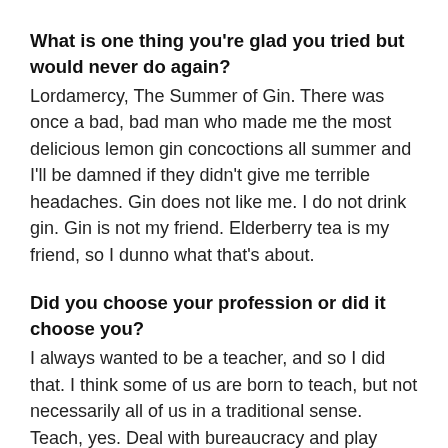What is one thing you're glad you tried but would never do again?
Lordamercy, The Summer of Gin. There was once a bad, bad man who made me the most delicious lemon gin concoctions all summer and I'll be damned if they didn't give me terrible headaches. Gin does not like me. I do not drink gin. Gin is not my friend. Elderberry tea is my friend, so I dunno what that's about.
Did you choose your profession or did it choose you?
I always wanted to be a teacher, and so I did that. I think some of us are born to teach, but not necessarily all of us in a traditional sense. Teach, yes. Deal with bureaucracy and play politics, fuck no.
I love what Laura wrote, “I've been choosing my professions since I left teaching. It's worked out pretty well